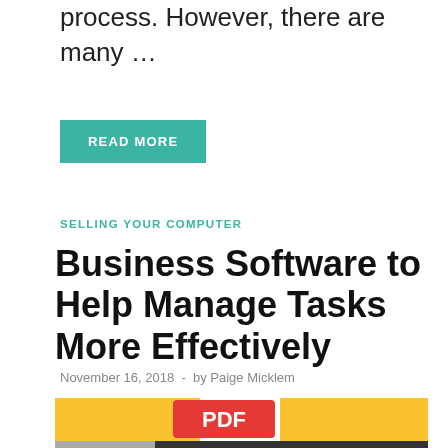process. However, there are many …
READ MORE
SELLING YOUR COMPUTER
Business Software to Help Manage Tasks More Effectively
November 16, 2018  -  by Paige Micklem
[Figure (illustration): PDF file icon on yellow background with video player controls visible at the bottom]